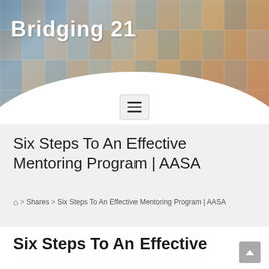[Figure (photo): Bridging 21 website header banner with mosaic of diverse student faces in a colorful collage background, with white arch at bottom and hamburger menu icon]
Six Steps To An Effective Mentoring Program | AASA
🏠 > Shares > Six Steps To An Effective Mentoring Program | AASA
Six Steps To An Effective